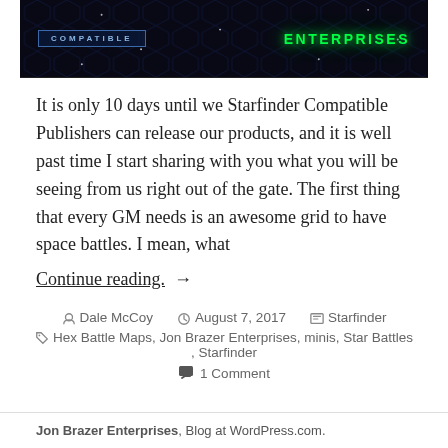[Figure (illustration): Banner image with dark space-themed background showing 'COMPATIBLE' text on left in blue and 'ENTERPRISES' text on right in green neon, with hexagonal grid pattern.]
It is only 10 days until we Starfinder Compatible Publishers can release our products, and it is well past time I start sharing with you what you will be seeing from us right out of the gate. The first thing that every GM needs is an awesome grid to have space battles. I mean, what
Continue reading. →
Dale McCoy  August 7, 2017  Starfinder
Hex Battle Maps, Jon Brazer Enterprises, minis, Star Battles, Starfinder
1 Comment
Jon Brazer Enterprises, Blog at WordPress.com.